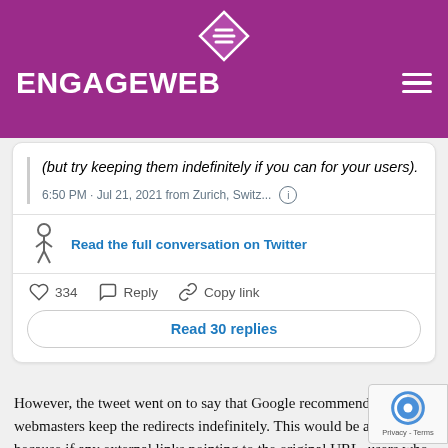ENGAGEWEB
[Figure (screenshot): Embedded tweet screenshot showing text '(but try keeping them indefinitely if you can for your users).', timestamp '6:50 PM · Jul 21, 2021 from Zurich, Switz...', a 'Read the full conversation on Twitter' link, like count 334, Reply and Copy link actions, and a 'Read 30 replies' button.]
However, the tweet went on to say that Google recommends webmasters keep the redirects indefinitely. This would be advisable because if any external links pointing to the original URL, users who click through your website be presented with a 404 error which can save...